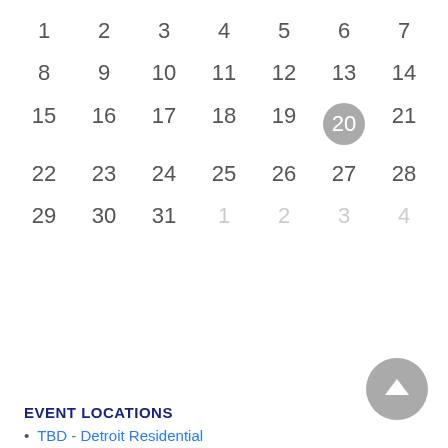[Figure (other): Monthly calendar grid showing days 1-31 (current month) and 1-4 (next month), with day 20 highlighted in a gray circle as today's date]
EVENT LOCATIONS
TBD - Detroit Residential